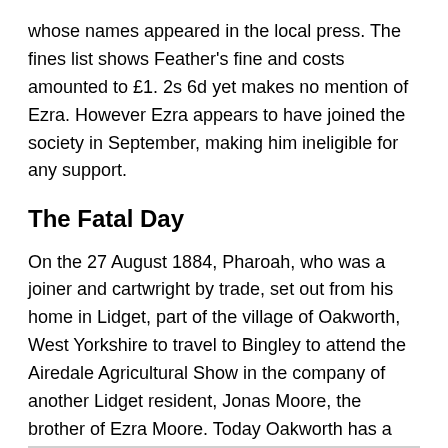whose names appeared in the local press. The fines list shows Feather's fine and costs amounted to £1. 2s 6d yet makes no mention of Ezra. However Ezra appears to have joined the society in September, making him ineligible for any support.
The Fatal Day
On the 27 August 1884, Pharoah, who was a joiner and cartwright by trade, set out from his home in Lidget, part of the village of Oakworth, West Yorkshire to travel to Bingley to attend the Airedale Agricultural Show in the company of another Lidget resident, Jonas Moore, the brother of Ezra Moore. Today Oakworth has a claim to fame as being the station made famous in the 1970 film of E Nesbit's The Railway Children, produced by Lionel Jeffries. It is a stop on the Keighley and Worth Valley preserved railway, which continues to take visitors up and down the Worth Valley between Keighley and Oxenhope.